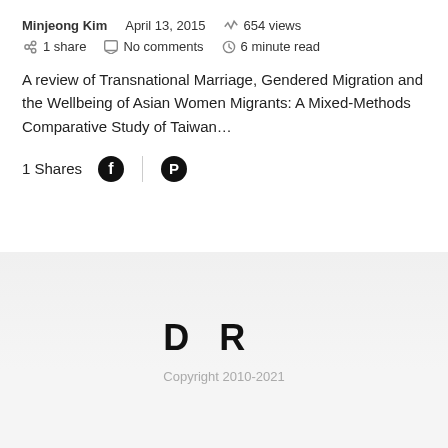Minjeong Kim   April 13, 2015   654 views   1 share   No comments   6 minute read
A review of Transnational Marriage, Gendered Migration and the Wellbeing of Asian Women Migrants: A Mixed-Methods Comparative Study of Taiwan…
1 Shares
D R
Copyright 2010-2021